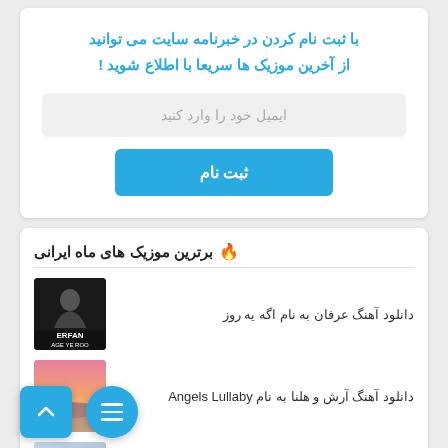با ثبت نام کردن در خبرنامه سایت می توانید از آخرین موزیک ها سریعا با اطلاع شوید !
ایمیل خود را وارد کنید
ثبت نام
🔥 برترین موزیک های ماه ایرانی
دانلود آهنگ عرفان به نام اگه یه روز
[Figure (photo): Thumbnail image for Erfan - Age Ye Roo music]
دانلود آهنگ آرش و هلنا به نام Angels Lullaby
[Figure (photo): Thumbnail image for Angels Lullaby - sunset/sky photo]
دانلود آهنگ عرفان طوفانب مره نام تددد